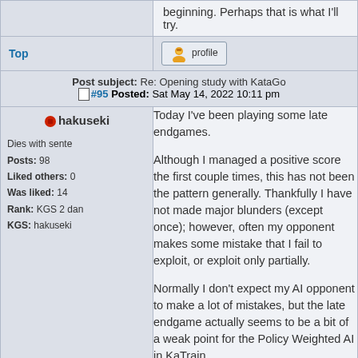beginning. Perhaps that is what I'll try.
Top
[Figure (screenshot): Profile button with user icon]
Post subject: Re: Opening study with KataGo #95 Posted: Sat May 14, 2022 10:11 pm
hakuseki
Dies with sente
Posts: 98
Liked others: 0
Was liked: 14
Rank: KGS 2 dan
KGS: hakuseki
Today I've been playing some late endgames.

Although I managed a positive score the first couple times, this has not been the pattern generally. Thankfully I have not made major blunders (except once); however, often my opponent makes some mistake that I fail to exploit, or exploit only partially.

Normally I don't expect my AI opponent to make a lot of mistakes, but the late endgame actually seems to be a bit of a weak point for the Policy Weighted AI in KaTrain.

I think this can be good training for